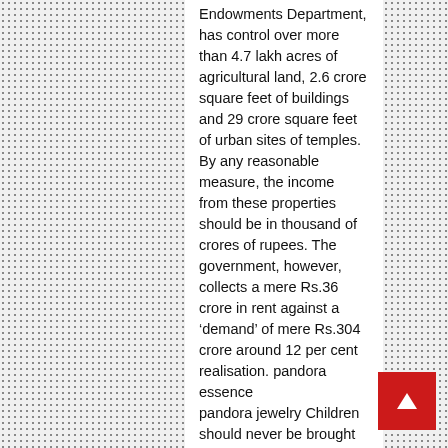Endowments Department, has control over more than 4.7 lakh acres of agricultural land, 2.6 crore square feet of buildings and 29 crore square feet of urban sites of temples. By any reasonable measure, the income from these properties should be in thousand of crores of rupees. The government, however, collects a mere Rs.36 crore in rent against a ‘demand’ of mere Rs.304 crore around 12 per cent realisation. pandora essence
pandora jewelry Children should never be brought into the world to solve a problem. They should not be born to get the relatives off your back, to hold onto a boyfriend, to ensure an inheritance, or to try to bring a couple closer. When a baby is conceived to solve a problem, it almost inevitably